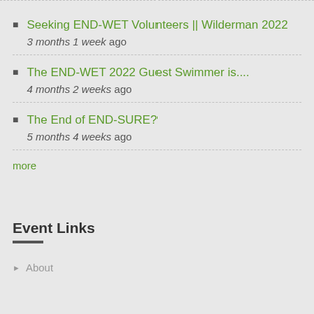Seeking END-WET Volunteers || Wilderman 2022
3 months 1 week ago
The END-WET 2022 Guest Swimmer is....
4 months 2 weeks ago
The End of END-SURE?
5 months 4 weeks ago
more
Event Links
About